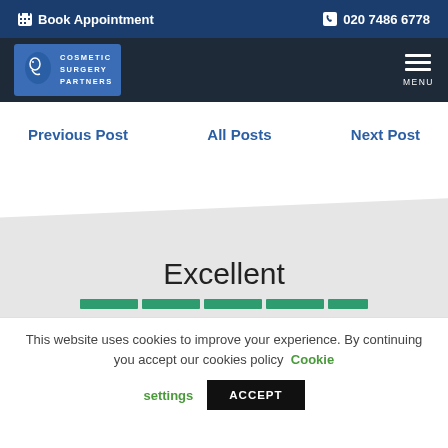Book Appointment  020 7486 6778
[Figure (logo): Cosmetic Surgery Partners logo with face illustration]
Previous Post  All Posts  Next Post
Excellent
This website uses cookies to improve your experience. By continuing you accept our cookies policy Cookie settings
ACCEPT